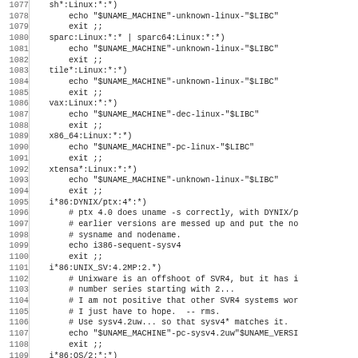[Figure (screenshot): Source code listing showing shell script case statement entries for Linux architecture detection, lines 1077-1108, in monospace font with line numbers on the left.]